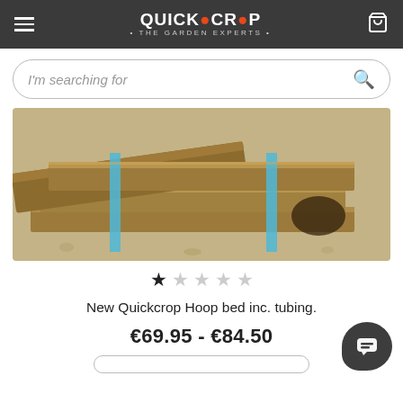QUICKCROP • THE GARDEN EXPERTS •
I'm searching for
[Figure (photo): Stacked wooden raised garden bed planks with blue straps, lying on a sandy/gravel surface. Product photo for Quickcrop Hoop bed.]
★☆☆☆☆ (1 star out of 5)
New Quickcrop Hoop bed inc. tubing.
€69.95 - €84.50